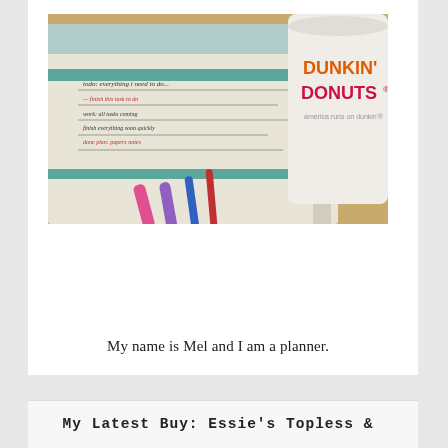[Figure (photo): A spiral-bound planner notebook with handwritten notes and colored pens/markers (pink, purple, blue) laid on a wooden surface next to a Dunkin' Donuts cup.]
My name is Mel and I am a planner.
My Latest Buy: Essie's Topless &